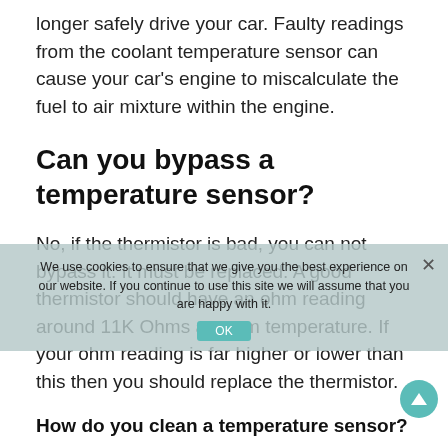longer safely drive your car. Faulty readings from the coolant temperature sensor can cause your car's engine to miscalculate the fuel to air mixture within the engine.
Can you bypass a temperature sensor?
No, if the thermistor is bad, you can not bypass it. It must be replaced. A good thermistor should have an ohm reading around 11K Ohms at room temperature. If your ohm reading is far higher or lower than this then you should replace the thermistor.
How do you clean a temperature sensor?
To clean the sensor use a heavy duty Scotch Bright (green type) cleaning pad. I cut the sheets into